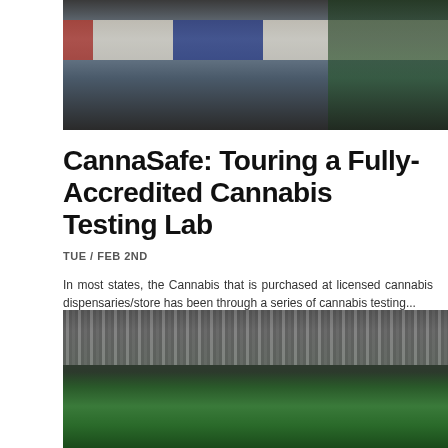[Figure (photo): Person in blue suit standing in a laboratory with colorful equipment and bottles on shelves]
CannaSafe: Touring a Fully-Accredited Cannabis Testing Lab
TUE / FEB 2ND
In most states, the Cannabis that is purchased at licensed cannabis dispensaries/store has been through a series of cannabis testing...
READ MORE
[Figure (photo): Indoor cannabis growing facility with overhead lighting strips and fan ventilation, green cannabis plants in foreground]